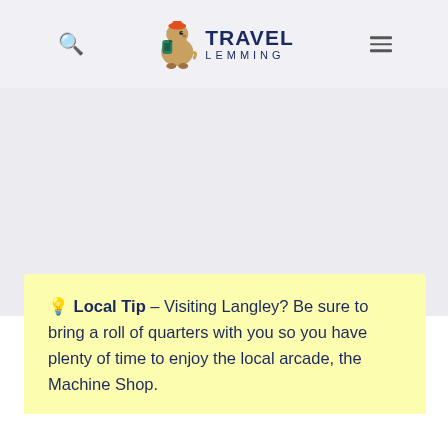Travel Lemming
[Figure (logo): Travel Lemming logo with illustrated lemming mascot carrying a backpack, text TRAVEL LEMMING]
💡 Local Tip – Visiting Langley? Be sure to bring a roll of quarters with you so you have plenty of time to enjoy the local arcade, the Machine Shop.